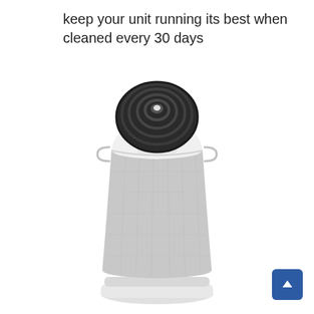keep your unit running its best when cleaned every 30 days
[Figure (photo): An LG air purifier with a cylindrical body covered in light grey fabric mesh, a white upper section with a display showing '12', and a dark circular fan intake on top.]